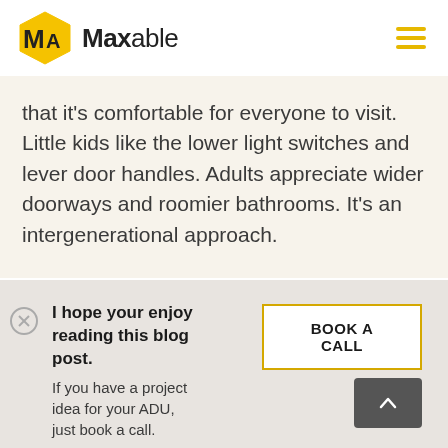[Figure (logo): Maxable logo: yellow/gold hexagon icon with 'MA' letters and bold text 'Maxable' beside it]
that it's comfortable for everyone to visit. Little kids like the lower light switches and lever door handles. Adults appreciate wider doorways and roomier bathrooms. It's an intergenerational approach.
I hope your enjoy reading this blog post. If you have a project idea for your ADU, just book a call.
BOOK A CALL